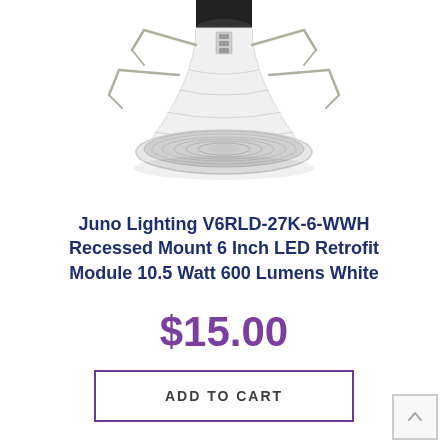[Figure (photo): White recessed LED retrofit light module with spring clips visible, shot from below against white background]
Juno Lighting V6RLD-27K-6-WWH Recessed Mount 6 Inch LED Retrofit Module 10.5 Watt 600 Lumens White
$15.00
ADD TO CART